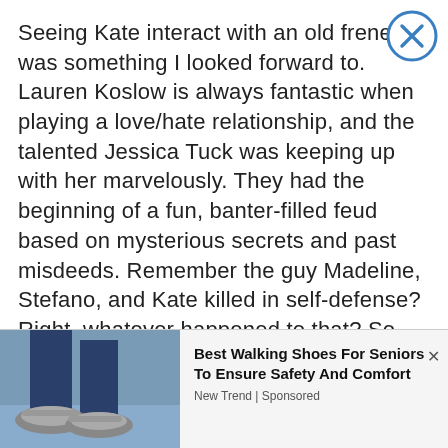Seeing Kate interact with an old frenemy was something I looked forward to. Lauren Koslow is always fantastic when playing a love/hate relationship, and the talented Jessica Tuck was keeping up with her marvelously. They had the beginning of a fun, banter-filled feud based on mysterious secrets and past misdeeds. Remember the guy Madeline, Stefano, and Kate killed in self-defense? Right, whatever happened to that? So, instead of watching their intertwined mysterious past unfold, Madeline got the default "I was a hooker" plot twist and was quickly killed off. Oh, Maddie, we hardly knew
[Figure (photo): Advertisement image showing a person's legs wearing grey walking sandals/shoes and blue jeans]
Best Walking Shoes For Seniors To Ensure Safety And Comfort
New Trend | Sponsored